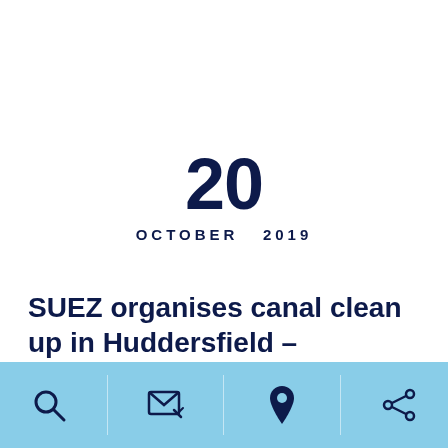20
OCTOBER  2019
SUEZ organises canal clean up in Huddersfield – Volunteers needed
[Figure (infographic): Bottom navigation bar with four icons on a light blue background: search (magnifying glass), email/message (envelope with pencil), location pin, and share (network share icon), separated by thin dividers.]